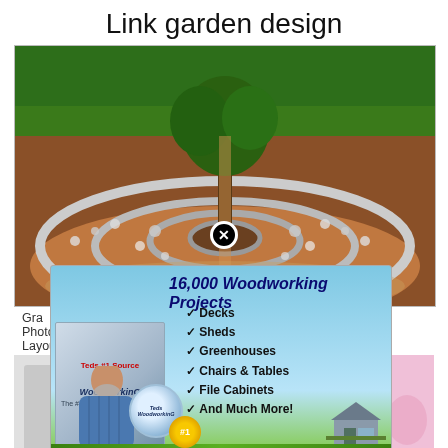Link garden design
[Figure (photo): Aerial view of a spiral garden with stone borders and a tree in the center, surrounded by concentric circular paths made of rocks on reddish-brown soil]
[Figure (infographic): Advertisement overlay for 'Teds WoodWorking' showing 16,000 Woodworking Projects with checklist of Decks, Sheds, Greenhouses, Chairs & Tables, File Cabinets, And Much More! with a product box, DVD, person, #1 Recommended badge, and Download Your Plans Now! button]
Gra Photo Layou sign arden Design